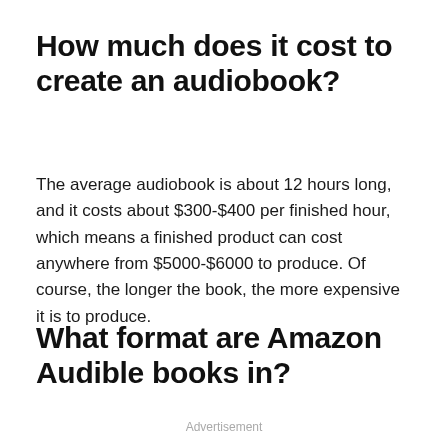How much does it cost to create an audiobook?
The average audiobook is about 12 hours long, and it costs about $300-$400 per finished hour, which means a finished product can cost anywhere from $5000-$6000 to produce. Of course, the longer the book, the more expensive it is to produce.
What format are Amazon Audible books in?
Advertisement